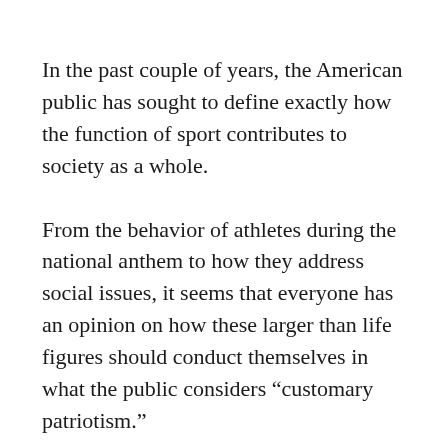In the past couple of years, the American public has sought to define exactly how the function of sport contributes to society as a whole.
From the behavior of athletes during the national anthem to how they address social issues, it seems that everyone has an opinion on how these larger than life figures should conduct themselves in what the public considers “customary patriotism.”
In the latest challenge of the free speech of